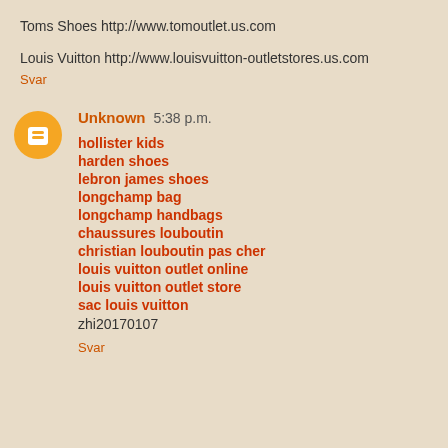Toms Shoes http://www.tomoutlet.us.com
Louis Vuitton http://www.louisvuitton-outletstores.us.com
Svar
Unknown 5:38 p.m.
hollister kids
harden shoes
lebron james shoes
longchamp bag
longchamp handbags
chaussures louboutin
christian louboutin pas cher
louis vuitton outlet online
louis vuitton outlet store
sac louis vuitton
zhi20170107
Svar